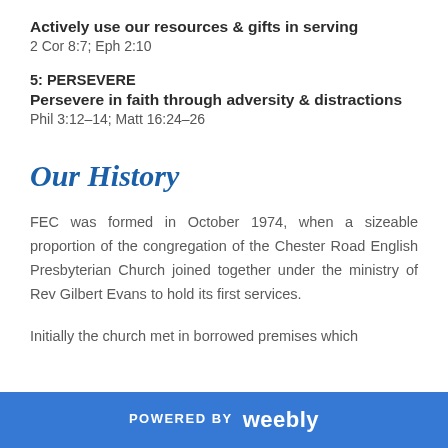Actively use our resources & gifts in serving
2 Cor 8:7; Eph 2:10
5: PERSEVERE
Persevere in faith through adversity & distractions
Phil 3:12-14; Matt 16:24-26
Our History
FEC was formed in October 1974, when a sizeable proportion of the congregation of the Chester Road English Presbyterian Church joined together under the ministry of Rev Gilbert Evans to hold its first services.
Initially the church met in borrowed premises which
POWERED BY weebly